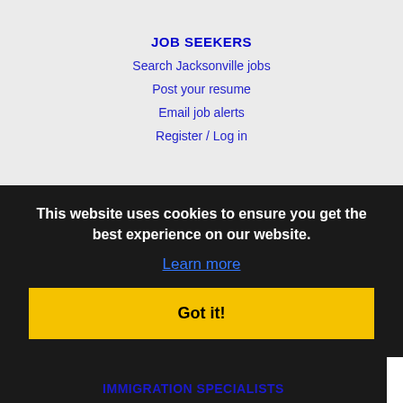JOB SEEKERS
Search Jacksonville jobs
Post your resume
Email job alerts
Register / Log in
EMPLOYERS
Post jobs
Search resumes
Email resume alerts
Advertise
IMMIGRATION SPECIALISTS
This website uses cookies to ensure you get the best experience on our website.
Learn more
Got it!